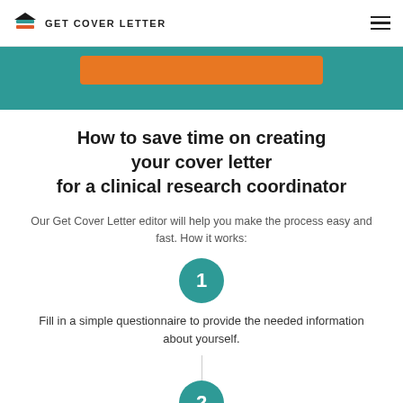GET COVER LETTER
[Figure (screenshot): Teal banner with orange button]
How to save time on creating your cover letter for a clinical research coordinator
Our Get Cover Letter editor will help you make the process easy and fast. How it works:
[Figure (infographic): Step 1 circle with teal background and number 1]
Fill in a simple questionnaire to provide the needed information about yourself.
[Figure (infographic): Connector line leading to step 2 circle]